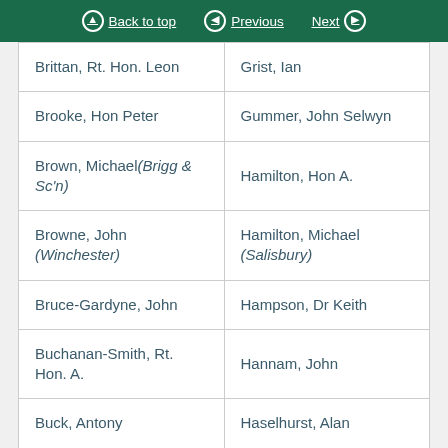Back to top | Previous | Next
| Brittan, Rt. Hon. Leon | Grist, Ian |
| Brooke, Hon Peter | Gummer, John Selwyn |
| Brown, Michael(Brigg & Sc'n) | Hamilton, Hon A. |
| Browne, John (Winchester) | Hamilton, Michael (Salisbury) |
| Bruce-Gardyne, John | Hampson, Dr Keith |
| Buchanan-Smith, Rt. Hon. A. | Hannam, John |
| Buck, Antony | Haselhurst, Alan |